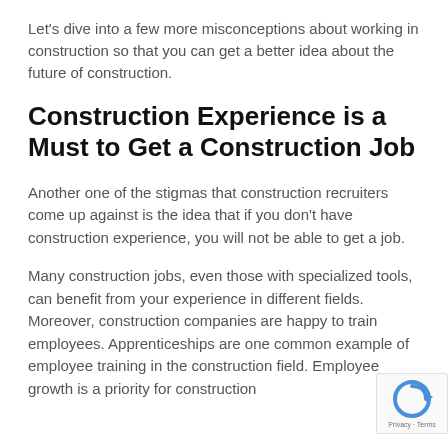Let's dive into a few more misconceptions about working in construction so that you can get a better idea about the future of construction.
Construction Experience is a Must to Get a Construction Job
Another one of the stigmas that construction recruiters come up against is the idea that if you don't have construction experience, you will not be able to get a job.
Many construction jobs, even those with specialized tools, can benefit from your experience in different fields. Moreover, construction companies are happy to train employees. Apprenticeships are one common example of employee training in the construction field. Employee growth is a priority for construction